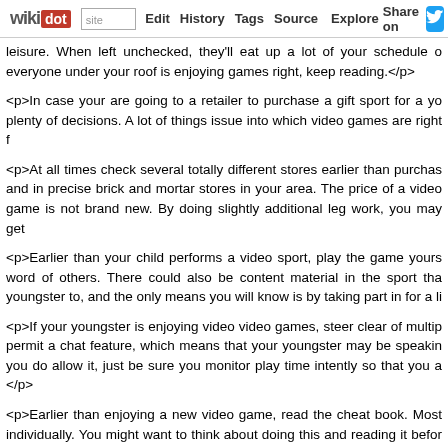wikidot | site | Edit | History | Tags | Source | Explore | Share on [twitter]
leisure. When left unchecked, they'll eat up a lot of your schedule of everyone under your roof is enjoying games right, keep reading.</p>
<p>In case your are going to a retailer to purchase a gift sport for a yo plenty of decisions. A lot of things issue into which video games are right f
<p>At all times check several totally different stores earlier than purchas and in precise brick and mortar stores in your area. The price of a video game is not brand new. By doing slightly additional leg work, you may get
<p>Earlier than your child performs a video sport, play the game yours word of others. There could also be content material in the sport tha youngster to, and the only means you will know is by taking part in for a li
<p>If your youngster is enjoying video video games, steer clear of multip permit a chat feature, which means that your youngster may be speakin you do allow it, just be sure you monitor play time intently so that you a </p>
<p>Earlier than enjoying a new video game, read the cheat book. Most individually. You might want to think about doing this and reading it befor fashion, you can get the most out of your sport play.</p>
<p>Read the critiques and watch the trailers earlier than you buy a video By Reading This that it's one thing you might be excited by earlier than yo and you won't get nearly as much cash once you trade in a used recre occasions.</p>
<p>In case you decide to allow your preschooler to play a video game, a to them about what is happening in the game. By making the experience